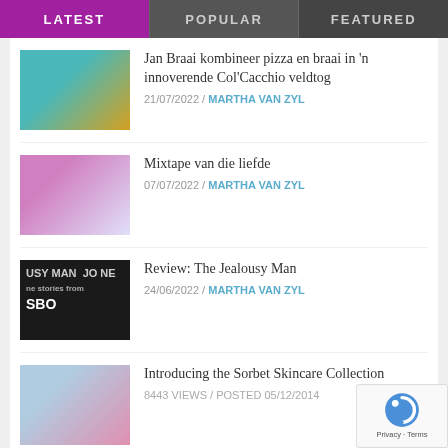LATEST | POPULAR | FEATURED
Jan Braai kombineer pizza en braai in 'n innoverende Col'Cacchio veldtog — 21/07/2022 / MARTHA VAN ZYL
Mixtape van die liefde — 07/07/2022 / MARTHA VAN ZYL
Review: The Jealousy Man — 24/06/2022 / MARTHA VAN ZYL
Introducing the Sorbet Skincare Collection — 8443 VIEWS / POSTED 05/12/2014
Get off your trolley for drinks carts — 8127 VIEWS / POSTED 18/11/2017
Lovely legs with Coverderm — 5206 VIEWS / POSTED 08/11/2013